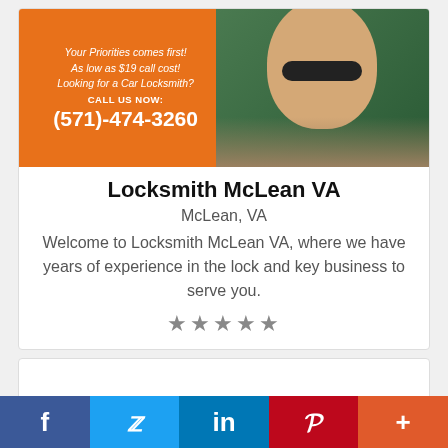[Figure (photo): Advertisement banner for a locksmith service showing an orange panel with text and phone number on the left, and a woman in a car on the right (green/outdoor background).]
Locksmith McLean VA
McLean, VA
Welcome to Locksmith McLean VA, where we have years of experience in the lock and key business to serve you.
★★★★★
[Figure (other): Empty white card/box below the listing]
f  [Twitter bird]  in  P  +